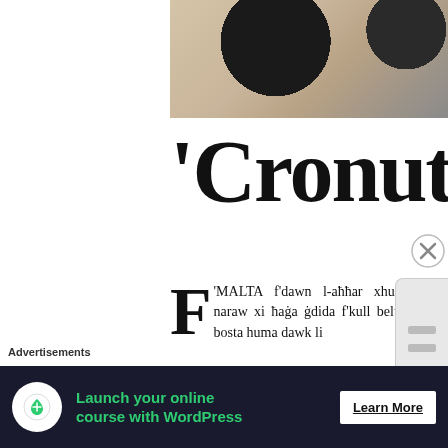[Figure (photo): Close-up photo of what appears to be a cronut or pastry, cropped at top showing dark and light textures]
'Cronut
F'MALTA f'dawn l-aħħar xhur qegħdin naraw xi ħaġa ġdida f'kull belt u raħal... bosta huma dawk li
Advertisements
[Figure (screenshot): Advertisement banner: Launch your online course with WordPress — Learn More]